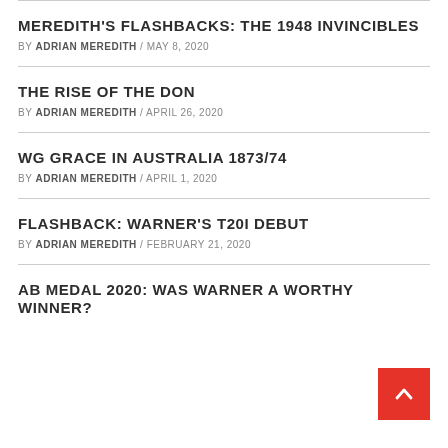MEREDITH'S FLASHBACKS: THE 1948 INVINCIBLES
BY ADRIAN MEREDITH / MAY 8, 2020
THE RISE OF THE DON
BY ADRIAN MEREDITH / APRIL 26, 2020
WG GRACE IN AUSTRALIA 1873/74
BY ADRIAN MEREDITH / APRIL 1, 2020
FLASHBACK: WARNER'S T20I DEBUT
BY ADRIAN MEREDITH / FEBRUARY 21, 2020
AB MEDAL 2020: WAS WARNER A WORTHY WINNER?